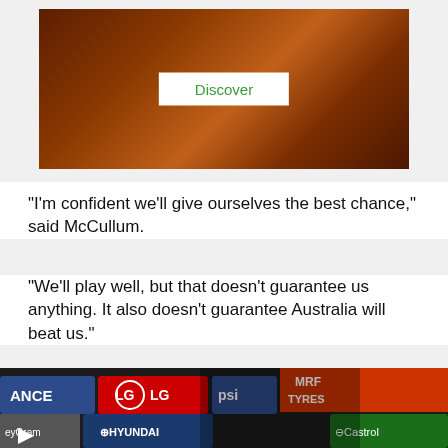[Figure (photo): Advertisement banner showing red rock landscape (Australian outback) with a white 'Discover' button overlaid in the center]
"I'm confident we'll give ourselves the best chance," said McCullum.
"We'll play well, but that doesn't guarantee us anything. It also doesn't guarantee Australia will beat us."
[Figure (photo): Video thumbnail showing a cricket player at a press conference with sponsor logos (LG, MRF Tyres, Hyundai, Pepsi, Castrol, Reliance) in the background, with a play button in the bottom left corner]